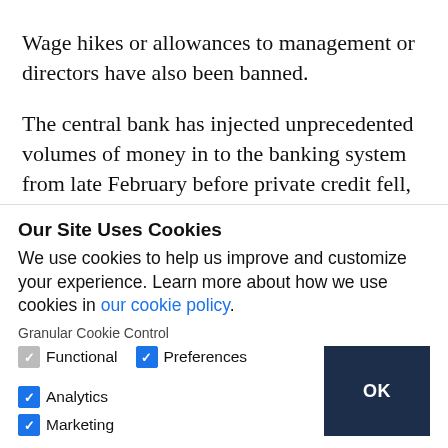Wage hikes or allowances to management or directors have also been banned.
The central bank has injected unprecedented volumes of money in to the banking system from late February before private credit fell, leading to a
Our Site Uses Cookies
We use cookies to help us improve and customize your experience. Learn more about how we use cookies in our cookie policy.
Granular Cookie Control
Functional  Preferences  Analytics  OK  Marketing